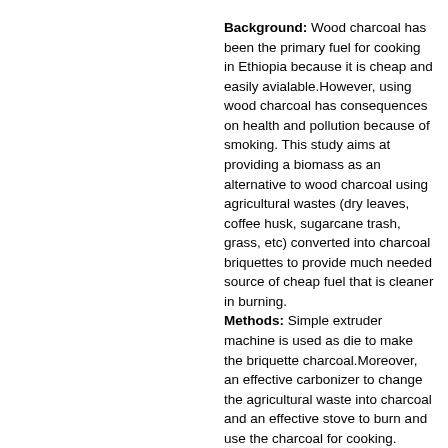Background: Wood charcoal has been the primary fuel for cooking in Ethiopia because it is cheap and easily avialable.However, using wood charcoal has consequences on health and pollution because of smoking. This study aims at providing a biomass as an alternative to wood charcoal using agricultural wastes (dry leaves, coffee husk, sugarcane trash, grass, etc) converted into charcoal briquettes to provide much needed source of cheap fuel that is cleaner in burning. Methods: Simple extruder machine is used as die to make the briquette charcoal.Moreover, an effective carbonizer to change the agricultural waste into charcoal and an effective stove to burn and use the charcoal for cooking.